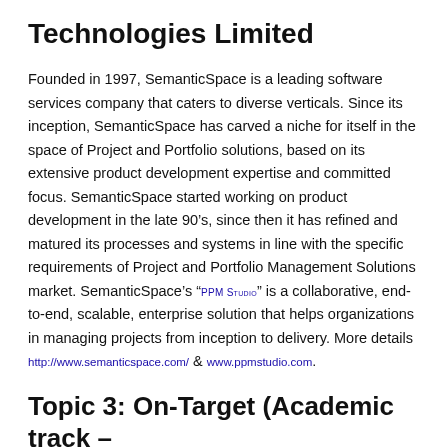Technologies Limited
Founded in 1997, SemanticSpace is a leading software services company that caters to diverse verticals. Since its inception, SemanticSpace has carved a niche for itself in the space of Project and Portfolio solutions, based on its extensive product development expertise and committed focus. SemanticSpace started working on product development in the late 90’s, since then it has refined and matured its processes and systems in line with the specific requirements of Project and Portfolio Management Solutions market. SemanticSpace’s “PPM Studio” is a collaborative, end-to-end, scalable, enterprise solution that helps organizations in managing projects from inception to delivery. More details http://www.semanticspace.com/ & www.ppmstudio.com.
Topic 3: On-Target (Academic track – online)